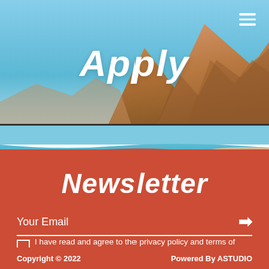[Figure (photo): Top header banner with sky and mountain landscape background, showing a blue sky and rocky desert mountains.]
Apply
[Figure (photo): Beach photo strip showing a turquoise coastal shoreline with sandy beach and people in the far right.]
Newsletter
Your Email
I have read and agree to the privacy policy and terms of service.
Copyright © 2022    Powered By ASTUDIO